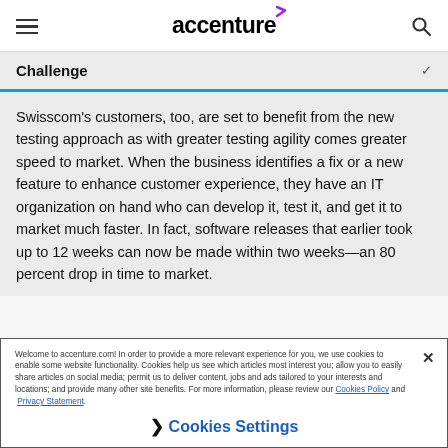accenture
Challenge
Swisscom’s customers, too, are set to benefit from the new testing approach as with greater testing agility comes greater speed to market. When the business identifies a fix or a new feature to enhance customer experience, they have an IT organization on hand who can develop it, test it, and get it to market much faster. In fact, software releases that earlier took up to 12 weeks can now be made within two weeks—an 80 percent drop in time to market.
Welcome to accenture.com! In order to provide a more relevant experience for you, we use cookies to enable some website functionality. Cookies help us see which articles most interest you; allow you to easily share articles on social media; permit us to deliver content, jobs and ads tailored to your interests and locations; and provide many other site benefits. For more information, please review our Cookies Policy and Privacy Statement.
› Cookies Settings